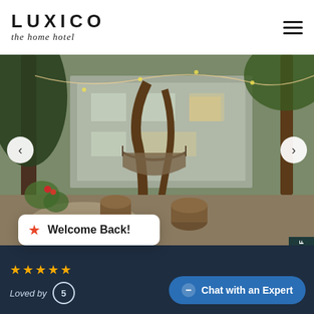[Figure (logo): LUXICO logo with tagline 'the home hotel']
[Figure (photo): Outdoor garden area of a modern house with trees, hammock, fire pit bowl, and tree stumps. Navigation arrows on left and right. Promo tab on right reading GET UP TO 50% OFF.]
LUXICO'S THE VINES - BEACHSIDE LIVING
on Bay, New Brighton
[Figure (infographic): Welcome Back! popup with red star icon]
★★★★★
Loved by 5
Chat with an Expert